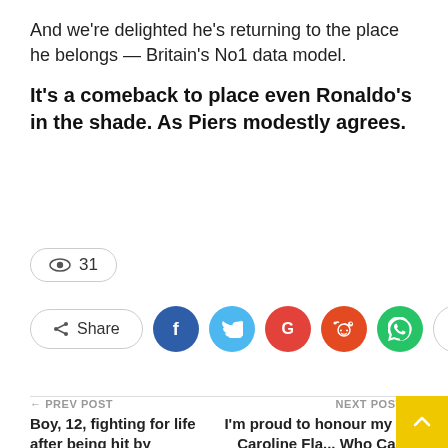And we're delighted he's returning to the place he belongs — Britain's No1 data model.
It's a comeback to place even Ronaldo's in the shade. As Piers modestly agrees.
👁 31
Share (social buttons: Facebook, Twitter, Google+, Reddit, WhatsApp, More)
← PREV POST  Boy, 12, fighting for life after being hit by motorcyclist on busy
NEXT POST →  I'm proud to honour my pal Caroline Fla... Who Cares Wins awards.